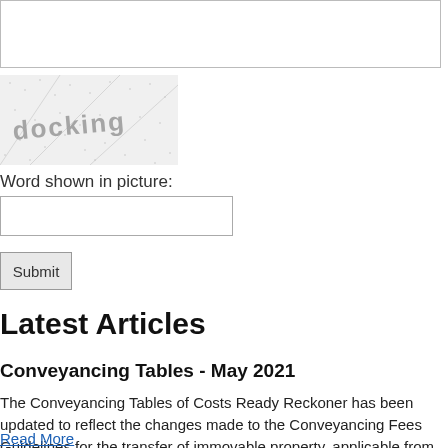[Figure (other): CAPTCHA image showing the word 'docking' in distorted text over a dotted/grainy background with diagonal lines]
Word shown in picture:
[text input field]
Submit
Latest Articles
Conveyancing Tables - May 2021
The Conveyancing Tables of Costs Ready Reckoner has been updated to reflect the changes made to the Conveyancing Fees Guidelines for the transfer of immovable property, applicable from 1st May 2021.
Read More